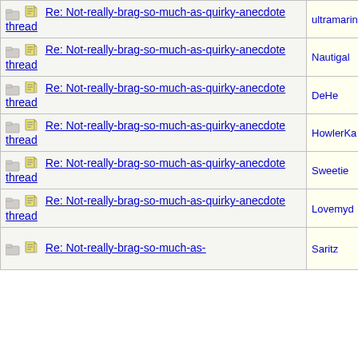| Topic | Author |
| --- | --- |
| Re: Not-really-brag-so-much-as-quirky-anecdote thread | ultramarin |
| Re: Not-really-brag-so-much-as-quirky-anecdote thread | Nautigal |
| Re: Not-really-brag-so-much-as-quirky-anecdote thread | DeHe |
| Re: Not-really-brag-so-much-as-quirky-anecdote thread | HowlerKa |
| Re: Not-really-brag-so-much-as-quirky-anecdote thread | Sweetie |
| Re: Not-really-brag-so-much-as-quirky-anecdote thread | Lovemyd |
| Re: Not-really-brag-so-much-as-quirky-anecdote thread | Saritz |